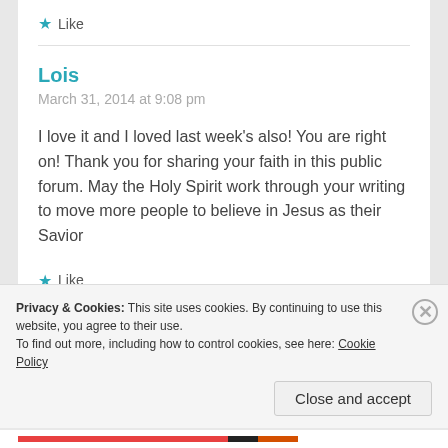★ Like
Lois
March 31, 2014 at 9:08 pm
I love it and I loved last week's also! You are right on! Thank you for sharing your faith in this public forum. May the Holy Spirit work through your writing to move more people to believe in Jesus as their Savior
★ Like
Privacy & Cookies: This site uses cookies. By continuing to use this website, you agree to their use.
To find out more, including how to control cookies, see here: Cookie Policy
Close and accept